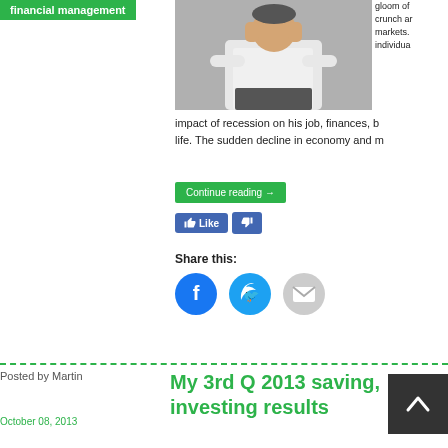financial management
[Figure (photo): Photo of a man in a white shirt with hands on head, appearing stressed]
gloom of crunch and markets. individual impact of recession on his job, finances, b life. The sudden decline in economy and m
Continue reading →
[Figure (other): Like and dislike buttons (Facebook-style)]
Share this:
[Figure (other): Social share icons: Facebook, Twitter, Email]
Posted by Martin
My 3rd Q 2013 saving, investing results
October 08, 2013